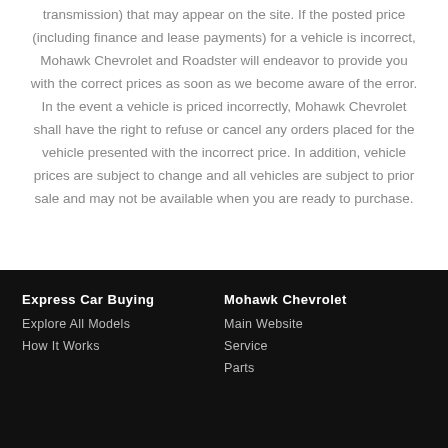transmission) that may appear on the site. If the posted price (including finance and lease payments) for a vehicle is incorrect, Mohawk Chevrolet and Roadster will endeavor to provide you with the correct prices as soon as we become aware of the error. In the event a vehicle is priced incorrectly, Mohawk Chevrolet shall have the right to refuse or cancel any orders placed for the vehicle presented with the incorrect price. In addition, vehicle prices are subject to change and all vehicles are subject to prior sale and may not be available when you are ready to purchase.
Express Car Buying
Explore All Models
How It Works
Mohawk Chevrolet
Main Website
Service
Parts